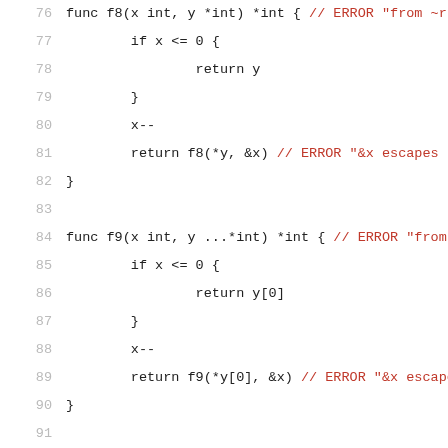Code listing showing Go functions f8, f9, f10 with error annotations (lines 76-96)